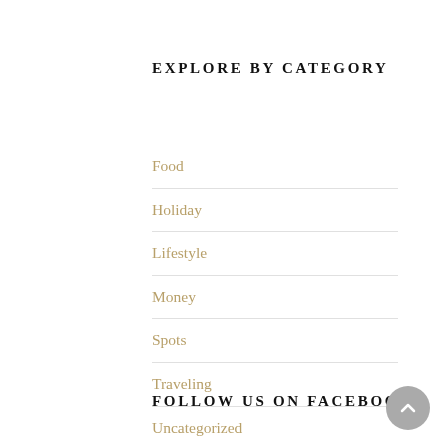EXPLORE BY CATEGORY
Food
Holiday
Lifestyle
Money
Spots
Traveling
Uncategorized
FOLLOW US ON FACEBOOK
[Figure (other): Back to top button — circular grey button with upward chevron arrow in bottom-right corner]